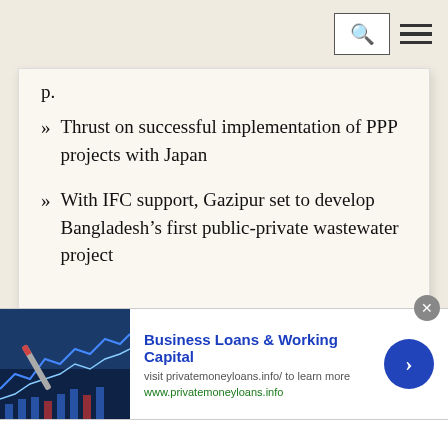Navigation bar with search and menu icons
Thrust on successful implementation of PPP projects with Japan
With IFC support, Gazipur set to develop Bangladesh's first public-private wastewater project
[Figure (screenshot): Advertisement banner: Business Loans & Working Capital, visit privatemoneyloans.info/ to learn more, www.privatemoneyloans.info, with stock chart image and blue arrow button]